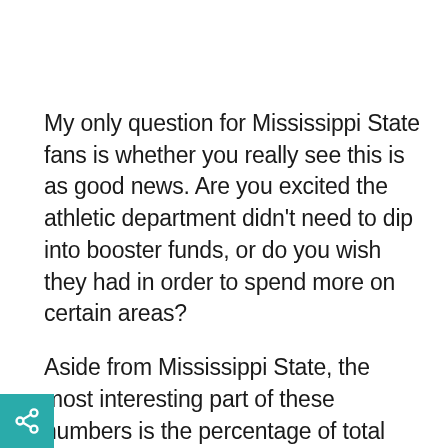My only question for Mississippi State fans is whether you really see this is as good news. Are you excited the athletic department didn't need to dip into booster funds, or do you wish they had in order to spend more on certain areas?
Aside from Mississippi State, the most interesting part of these numbers is the percentage of total athletic department revenue for which they account. As you can see, at nearly half the schools 30% or more of their athletic department revenue comes from donor contributions.